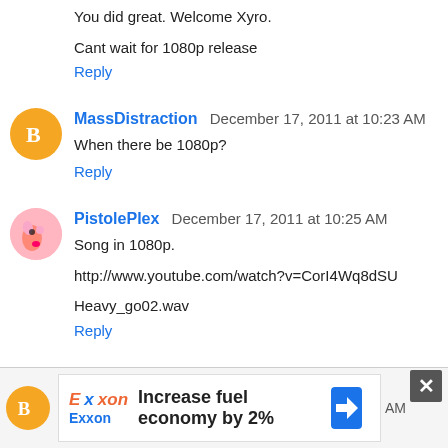You did great. Welcome Xyro.

Cant wait for 1080p release
Reply
MassDistraction  December 17, 2011 at 10:23 AM
When there be 1080p?
Reply
PistolePlex  December 17, 2011 at 10:25 AM
Song in 1080p.

http://www.youtube.com/watch?v=CorI4Wq8dSU

Heavy_go02.wav
Reply
[Figure (infographic): Advertisement bar: Exxon ad - Increase fuel economy by 2%]